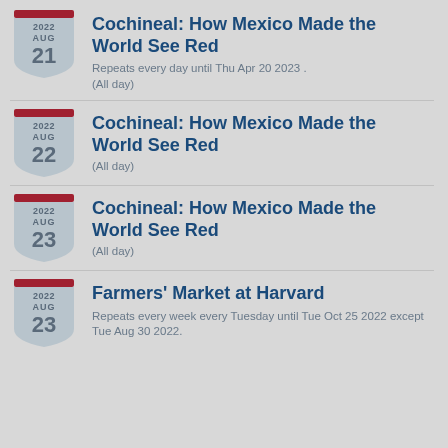2022 AUG 21 — Cochineal: How Mexico Made the World See Red
Repeats every day until Thu Apr 20 2023 .
(All day)
2022 AUG 22 — Cochineal: How Mexico Made the World See Red
(All day)
2022 AUG 23 — Cochineal: How Mexico Made the World See Red
(All day)
2022 AUG 23 — Farmers' Market at Harvard
Repeats every week every Tuesday until Tue Oct 25 2022 except Tue Aug 30 2022.